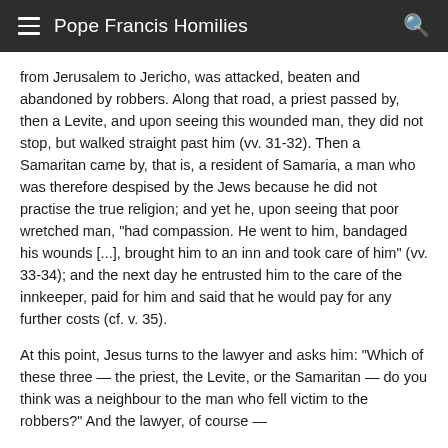Pope Francis Homilies
from Jerusalem to Jericho, was attacked, beaten and abandoned by robbers. Along that road, a priest passed by, then a Levite, and upon seeing this wounded man, they did not stop, but walked straight past him (vv. 31-32). Then a Samaritan came by, that is, a resident of Samaria, a man who was therefore despised by the Jews because he did not practise the true religion; and yet he, upon seeing that poor wretched man, "had compassion. He went to him, bandaged his wounds [...], brought him to an inn and took care of him" (vv. 33-34); and the next day he entrusted him to the care of the innkeeper, paid for him and said that he would pay for any further costs (cf. v. 35).
At this point, Jesus turns to the lawyer and asks him: "Which of these three — the priest, the Levite, or the Samaritan — do you think was a neighbour to the man who fell victim to the robbers?" And the lawyer, of course —